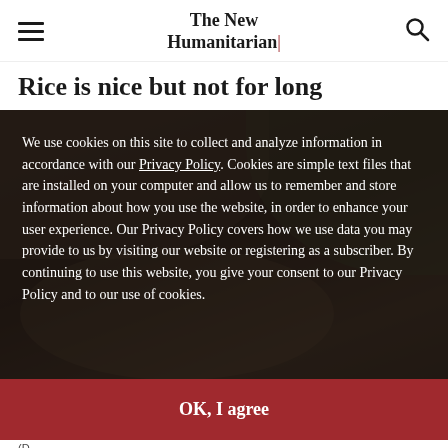The New Humanitarian
Rice is nice but not for long
[Figure (photo): Photo of people holding rice or grain, partially visible behind a cookie consent overlay]
We use cookies on this site to collect and analyze information in accordance with our Privacy Policy. Cookies are simple text files that are installed on your computer and allow us to remember and store information about how you use the website, in order to enhance your user experience. Our Privacy Policy covers how we use data you may provide to us by visiting our website or registering as a subscriber. By continuing to use this website, you give your consent to our Privacy Policy and to our use of cookies.
OK, I agree
(D